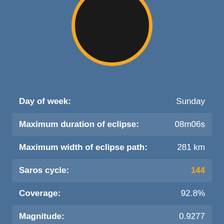[Figure (illustration): Solar eclipse graphic: large black circle with orange border, partially cropped at top, on blue background]
| Property | Value |
| --- | --- |
| Day of week: | Sunday |
| Maximum duration of eclipse: | 08m06s |
| Maximum width of eclipse path: | 281 km |
| Saros cycle: | 144 |
| Coverage: | 92.8% |
| Magnitude: | 0.9277 |
| Gamma: | -0.2625 |